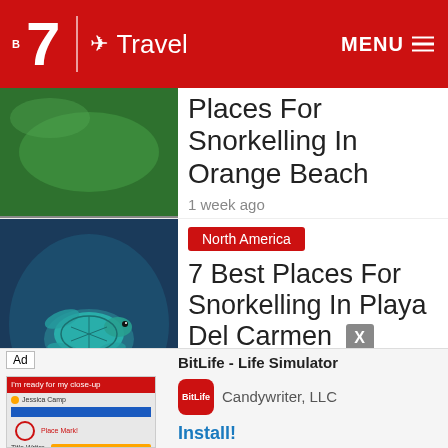B7 ✈ Travel  MENU
[Figure (photo): Green underwater photo thumbnail (partially visible)]
Places For Snorkelling In Orange Beach
1 week ago
[Figure (photo): Close-up photo of a sea turtle swimming underwater]
North America
7 Best Places For Snorkelling In Playa Del Carmen
[Figure (screenshot): Ad for BitLife - Life Simulator app by Candywriter, LLC with Install button]